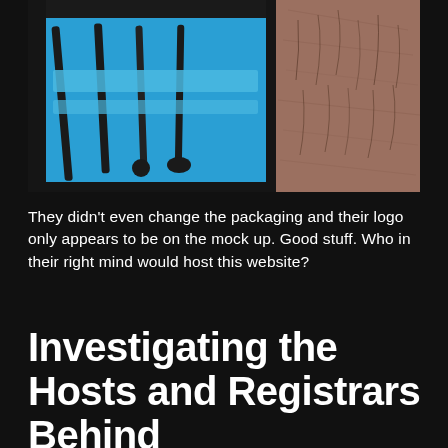[Figure (photo): A photo showing a grooming tool kit in a blue case with several black metal implements (nail files, cuticle tools), next to what appears to be human skin/leg in the background.]
They didn't even change the packaging and their logo only appears to be on the mock up. Good stuff. Who in their right mind would host this website?
Investigating the Hosts and Registrars Behind SmoothMyBalls